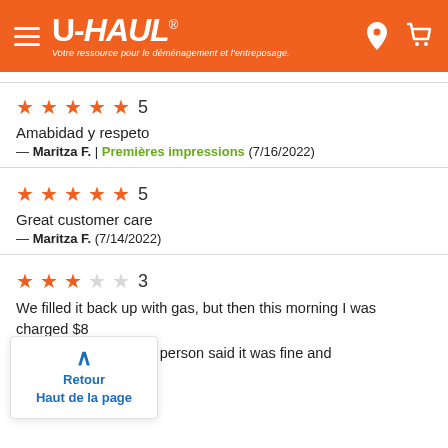[Figure (screenshot): U-Haul website header with orange background, hamburger menu, U-HAUL logo with tagline 'Votre ressource pour le déménagement et l'entreposage.', and location/cart icons]
★★★★★ 5
Amabidad y respeto
— Maritza F. | Premières impressions (7/16/2022)
★★★★★ 5
Great customer care
— Maritza F. (7/14/2022)
★★★☆☆ 3
We filled it back up with gas, but then this morning I was charged $8 dropped it off the staff person said it was fine and ot. 022)
Retour
Haut de la page